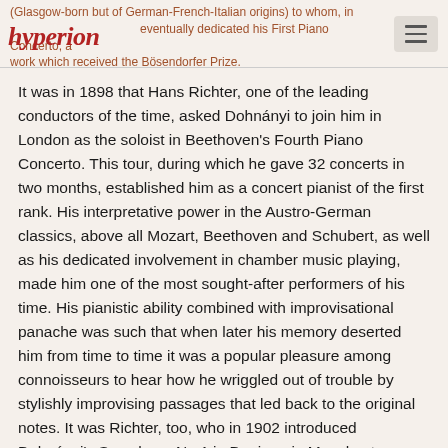(Glasgow-born but of German-French-Italian origins) to whom, in [Hyperion logo] eventually dedicated his First Piano Concerto, a work which received the Bösendorfer Prize.
It was in 1898 that Hans Richter, one of the leading conductors of the time, asked Dohnányi to join him in London as the soloist in Beethoven's Fourth Piano Concerto. This tour, during which he gave 32 concerts in two months, established him as a concert pianist of the first rank. His interpretative power in the Austro-German classics, above all Mozart, Beethoven and Schubert, as well as his dedicated involvement in chamber music playing, made him one of the most sought-after performers of his time. His pianistic ability combined with improvisational panache was such that when later his memory deserted him from time to time it was a popular pleasure among connoisseurs to hear how he wriggled out of trouble by stylishly improvising passages that led back to the original notes. It was Richter, too, who in 1902 introduced Dohnányi's Symphony No 1 in D minor, in Manchester.
The great violinist Joachim, friend of Brahms, was also friend to Dohnányi whom he invited to Berlin where the composer was offered a professorship at the Hochshule in 1905. Ten years there were paralleled and followed by various prestigious appointments not only at the Budapest Academy but also as chief conductor of